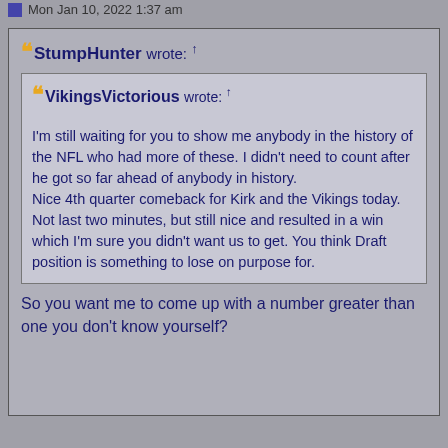Mon Jan 10, 2022 1:37 am
StumpHunter wrote: ↑
[quoted post from VikingsVictorious wrote: ↑]
I'm still waiting for you to show me anybody in the history of the NFL who had more of these. I didn't need to count after he got so far ahead of anybody in history.
Nice 4th quarter comeback for Kirk and the Vikings today. Not last two minutes, but still nice and resulted in a win which I'm sure you didn't want us to get. You think Draft position is something to lose on purpose for.
So you want me to come up with a number greater than one you don't know yourself?